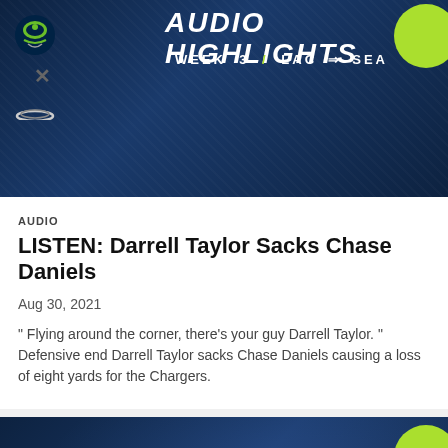[Figure (screenshot): Audio Highlights banner image with navy blue background showing AUDIO HIGHLIGHTS text, WEEK 3 / LAC → SEA subtitle, Seattle Seahawks logo, X, and LAC logo on left side, green circle on top right]
AUDIO
LISTEN: Darrell Taylor Sacks Chase Daniels
Aug 30, 2021
" Flying around the corner, there's your guy Darrell Taylor. " Defensive end Darrell Taylor sacks Chase Daniels causing a loss of eight yards for the Chargers.
[Figure (screenshot): Partial Audio Highlights banner image with navy blue background showing bottom portion with green dots row and AUDIO HIGHLIGHTS text partially visible, green circle on right]